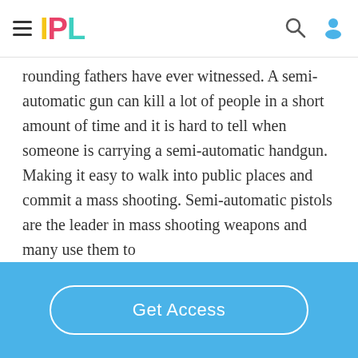IPL
rounding fathers have ever witnessed. A semi-automatic gun can kill a lot of people in a short amount of time and it is hard to tell when someone is carrying a semi-automatic handgun. Making it easy to walk into public places and commit a mass shooting. Semi-automatic pistols are the leader in mass shooting weapons and many use them to
Get Access